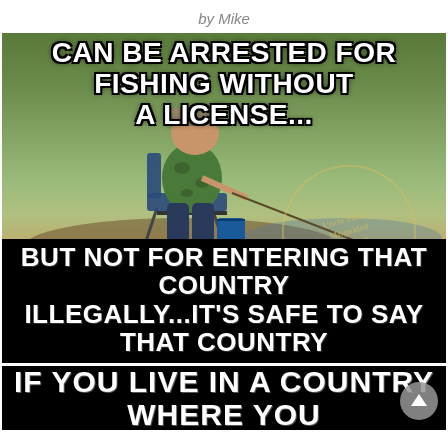by Mike
[Figure (photo): Meme image showing a young child in a hat and camouflage jacket sitting on a small chair fishing with a rod near water. White text overlaid reads: 'CAN BE ARRESTED FOR FISHING WITHOUT A LICENSE... BUT NOT FOR ENTERING THAT COUNTRY ILLEGALLY...IT'S SAFE TO SAY THAT COUNTRY'. Watermark circle reads 'Uncle Sam's Misguided Children'. Website text: www.UncleSamsMisguidedChildren.com]
[Figure (photo): Black background meme strip with white text reading: 'IF YOU LIVE IN A COUNTRY WHERE YOU']